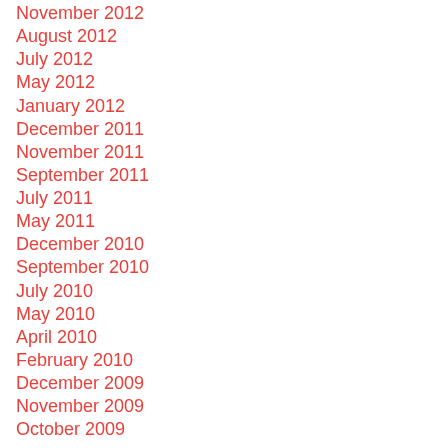November 2012
August 2012
July 2012
May 2012
January 2012
December 2011
November 2011
September 2011
July 2011
May 2011
December 2010
September 2010
July 2010
May 2010
April 2010
February 2010
December 2009
November 2009
October 2009